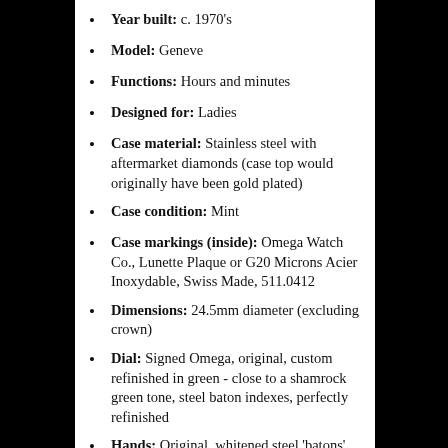Year built: c. 1970's
Model: Geneve
Functions: Hours and minutes
Designed for: Ladies
Case material: Stainless steel with aftermarket diamonds (case top would originally have been gold plated)
Case condition: Mint
Case markings (inside): Omega Watch Co., Lunette Plaque or G20 Microns Acier Inoxydable, Swiss Made, 511.0412
Dimensions: 24.5mm diameter (excluding crown)
Dial: Signed Omega, original, custom refinished in green - close to a shamrock green tone, steel baton indexes, perfectly refinished
Hands: Original, whitened steel 'batons'
Movement type: Omega, caliber 62x, ultra